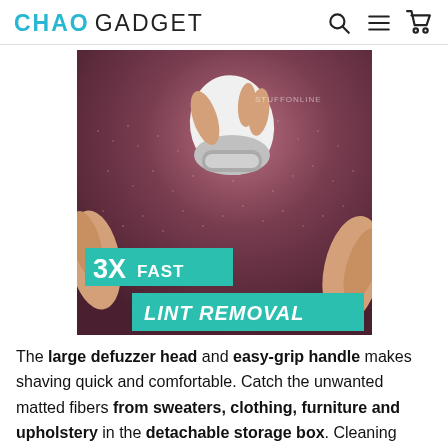CHAO GADGET
[Figure (photo): A hand holding a white electric fabric defuzzer/lint shaver being used on a dark reddish-maroon sweater or fabric. The device has a rounded triangular shape with a metallic base. Two teal banner overlays read '3X FAST' and 'LINT REMOVAL'. A watermark reads 'STUFFONLINE'.]
The large defuzzer head and easy-grip handle makes shaving quick and comfortable. Catch the unwanted matted fibers from sweaters, clothing, furniture and upholstery in the detachable storage box. Cleaning